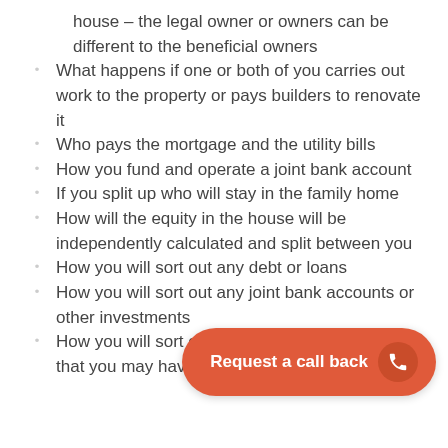house – the legal owner or owners can be different to the beneficial owners
What happens if one or both of you carries out work to the property or pays builders to renovate it
Who pays the mortgage and the utility bills
How you fund and operate a joint bank account
If you split up who will stay in the family home
How will the equity in the house will be independently calculated and split between you
How you will sort out any debt or loans
How you will sort out any joint bank accounts or other investments
How you will sort out … that you may have both paid towards.